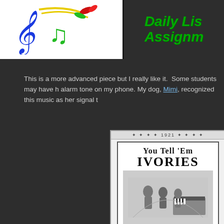[Figure (logo): Daily Listening Assignments header banner with colorful musical notes and treble clef on white background, green italic bold text reading 'Daily Lis... Assignm...' on dark background]
This is a more advanced piece but I really like it.  Some students may have heard this as the alarm tone on my phone. My dog, Mimi, recognized this music as her signal t...
[Figure (photo): Vintage 1921 sheet music cover for 'You Tell 'Em Ivories' showing decorative border, title text, and black and white illustration of people gathered around a piano]